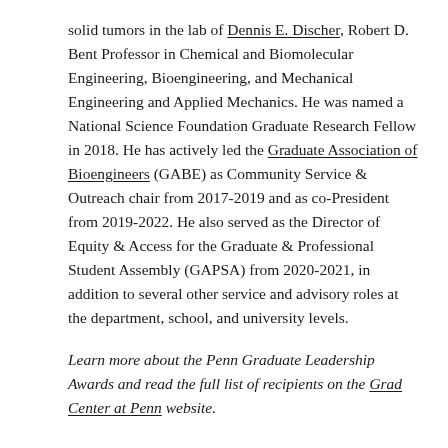solid tumors in the lab of Dennis E. Discher, Robert D. Bent Professor in Chemical and Biomolecular Engineering, Bioengineering, and Mechanical Engineering and Applied Mechanics. He was named a National Science Foundation Graduate Research Fellow in 2018. He has actively led the Graduate Association of Bioengineers (GABE) as Community Service & Outreach chair from 2017-2019 and as co-President from 2019-2022. He also served as the Director of Equity & Access for the Graduate & Professional Student Assembly (GAPSA) from 2020-2021, in addition to several other service and advisory roles at the department, school, and university levels.
Learn more about the Penn Graduate Leadership Awards and read the full list of recipients on the Grad Center at Penn website.